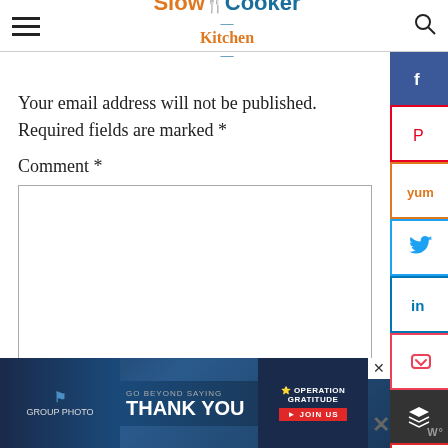Slow Cooker Kitchen
Your email address will not be published. Required fields are marked *
Comment *
[Figure (screenshot): Social media sharing sidebar with buttons for Facebook, Pinterest, Yummly, Twitter, LinkedIn, Pocket, Buffer, Flipboard, and Email]
[Figure (photo): Advertisement banner: GO BEYOND SAYING THANK YOU - Operation Gratitude JOIN US]